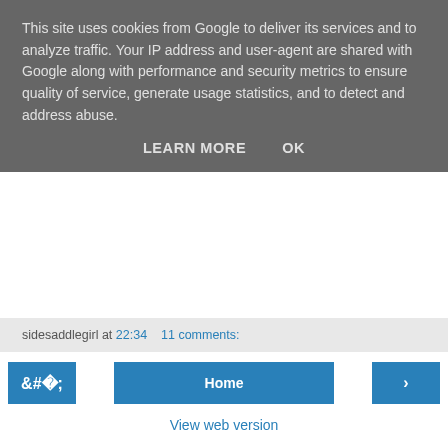This site uses cookies from Google to deliver its services and to analyze traffic. Your IP address and user-agent are shared with Google along with performance and security metrics to ensure quality of service, generate usage statistics, and to detect and address abuse.
LEARN MORE   OK
sidesaddlegirl at 22:34   11 comments:
[Figure (other): Navigation buttons: left arrow, Home, right arrow]
View web version
Contributors
The Management
sidesaddlegirl
Powered by Blogger.